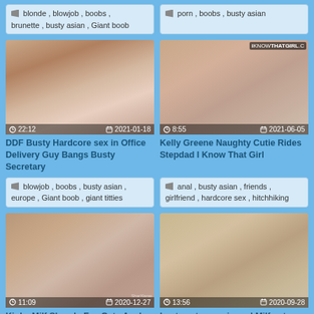blonde , blowjob , boobs , brunette , busty asian , Giant boob
porn , boobs , busty asian
[Figure (photo): Video thumbnail with time 22:12 and date 2021-01-18]
[Figure (photo): Video thumbnail with time 8:55 and date 2021-06-05, iKNOWTHATGIRL.C watermark]
DDF Busty Hardcore sex in Office Delivery Guy Bangs Busty Secretary
Kelly Greene Naughty Cutie Rides Stepdad I Know That Girl
blowjob , boobs , busty asian , europe , Giant boob , giant titties
anal , busty asian , friends , girlfriend , hardcore sex , hitchhiking
[Figure (photo): Video thumbnail with time 11:09 and date 2020-12-27, SharXlaras watermark]
[Figure (photo): Video thumbnail with time 13:56 and date 2020-09-28]
Kinky Milf Shanda Fay Gets Anal
busty extreme pierced Milf gets